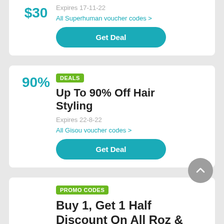$30
Expires 17-11-22
All Superhuman voucher codes >
Get Deal
DEALS
Up To 90% Off Hair Styling
90%
Expires 22-8-22
All Gisou voucher codes >
Get Deal
PROMO CODES
Buy 1, Get 1 Half Discount On All Roz &